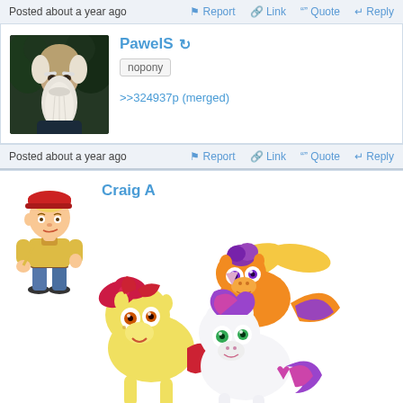Posted about a year ago  Report  Link  Quote  Reply
PawelS
nopony
>>324937p (merged)
Posted about a year ago  Report  Link  Quote  Reply
Craig A
[Figure (illustration): My Little Pony cartoon characters - three ponies (Apple Bloom, Scootaloo, Sweetie Belle) grouped together, colorful illustration]
[Figure (illustration): Small cartoon boy avatar with red cap]